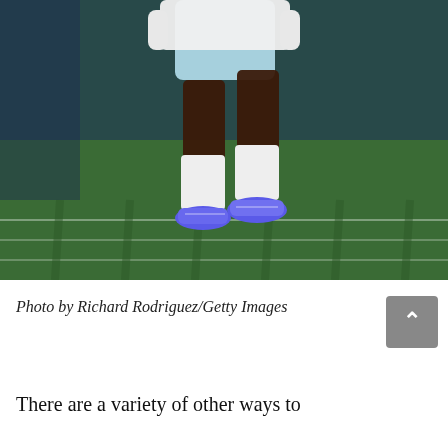[Figure (photo): An NFL football player in white and light blue Dallas Cowboys uniform running on a green field, wearing blue cleats. Shot from below showing legs and lower torso in motion. Photo appears to be taken indoors.]
Photo by Richard Rodriguez/Getty Images
There are a variety of other ways to